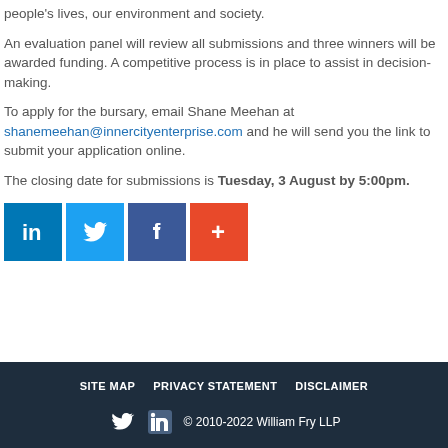people's lives, our environment and society.
An evaluation panel will review all submissions and three winners will be awarded funding. A competitive process is in place to assist in decision-making.
To apply for the bursary, email Shane Meehan at shanemeehan@innercityenterprise.com and he will send you the link to submit your application online.
The closing date for submissions is Tuesday, 3 August by 5:00pm.
[Figure (other): Social share buttons: LinkedIn, Twitter, Facebook, and a share/more button]
SITE MAP   PRIVACY STATEMENT   DISCLAIMER   © 2010-2022 William Fry LLP